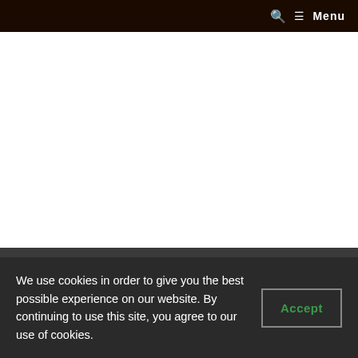🔍  ☰ Menu
Our mailing address is:
We use cookies in order to give you the best possible experience on our website. By continuing to use this site, you agree to our use of cookies.
Accept